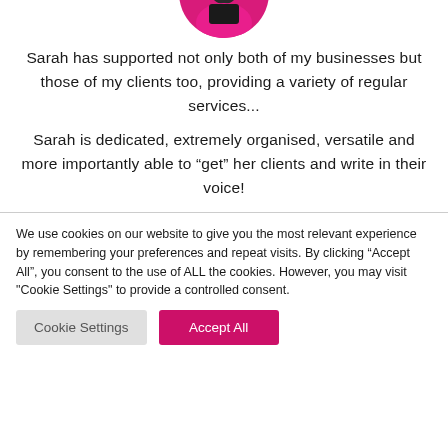[Figure (photo): Partial view of a circular profile photo showing a person in pink/magenta clothing, cropped at the top of the page]
Sarah has supported not only both of my businesses but those of my clients too, providing a variety of regular services...
Sarah is dedicated, extremely organised, versatile and more importantly able to “get” her clients and write in their voice!
We use cookies on our website to give you the most relevant experience by remembering your preferences and repeat visits. By clicking “Accept All”, you consent to the use of ALL the cookies. However, you may visit "Cookie Settings" to provide a controlled consent.